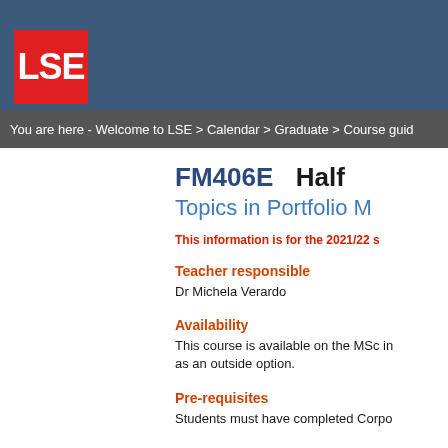[Figure (logo): LSE logo - red square with white LSE text]
You are here - Welcome to LSE > Calendar > Graduate > Course guid
FM406E   Half
Topics in Portfolio M
This information is for the 2021/22 s
Teacher responsible
Dr Michela Verardo
Availability
This course is available on the MSc in as an outside option.
Pre-requisites
Students must have completed Corpo